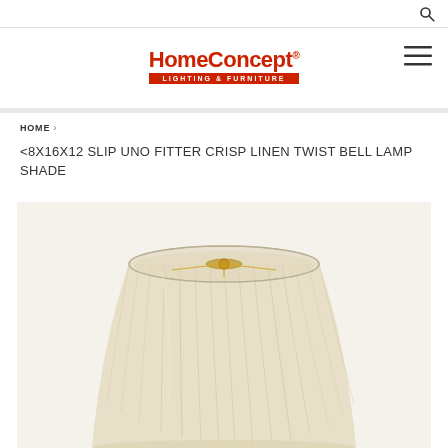HomeConcept Lighting & Furniture — search icon and hamburger menu
[Figure (logo): HomeConcept Lighting & Furniture logo in red with subtitle bar]
HOME ›
<8X16X12 SLIP UNO FITTER CRISP LINEN TWIST BELL LAMP SHADE
[Figure (photo): A cream/linen twist bell lamp shade with pleated fabric exterior and visible gold fitter hardware at top, shown from slightly above on a light background]